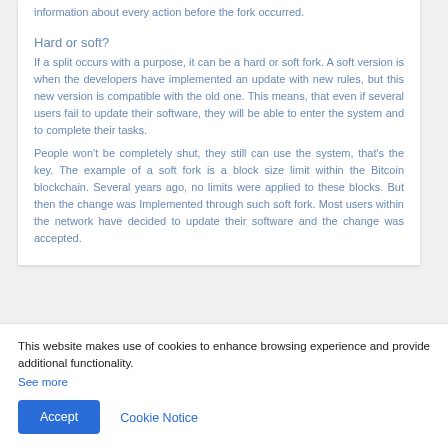information about every action before the fork occurred.
Hard or soft?
If a split occurs with a purpose, it can be a hard or soft fork. A soft version is when the developers have implemented an update with new rules, but this new version is compatible with the old one. This means, that even if several users fail to update their software, they will be able to enter the system and to complete their tasks.
People won't be completely shut, they still can use the system, that's the key. The example of a soft fork is a block size limit within the Bitcoin blockchain. Several years ago, no limits were applied to these blocks. But then the change was Implemented through such soft fork. Most users within the network have decided to update their software and the change was accepted.
This website makes use of cookies to enhance browsing experience and provide additional functionality.
See more
Accept
Cookie Notice